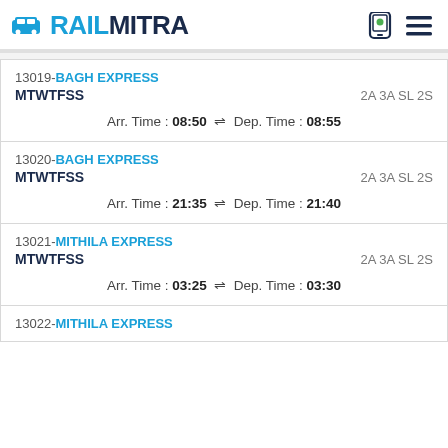RAILMITRA
13019-BAGH EXPRESS
MTWTFSS  2A 3A SL 2S
Arr. Time : 08:50 ⇌ Dep. Time : 08:55
13020-BAGH EXPRESS
MTWTFSS  2A 3A SL 2S
Arr. Time : 21:35 ⇌ Dep. Time : 21:40
13021-MITHILA EXPRESS
MTWTFSS  2A 3A SL 2S
Arr. Time : 03:25 ⇌ Dep. Time : 03:30
13022-MITHILA EXPRESS